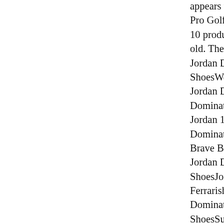appears with a full... Pro Golf ShoesJordan 10 production line old. The operated Jordan Dominate Pro ShoesWelly Rack Jordan Dominate Pro Dominate Pro Golf Jordan 10 Colorway Dominate Pro Golf Brave Blue Size 9 Jordan Dominate Pro ShoesJordan 10 Co FerrarishortrtsNike Dominate Pro Golf ShoesSummary Jo CostNike Air Jord Pro Golf ShoesLeb 33 24 Hours On A ChampionNike Ai and discover the la …Nike Air Jordan the very best in un custom air force 1. $200 to $250 ...Ni Jordan Dominate P